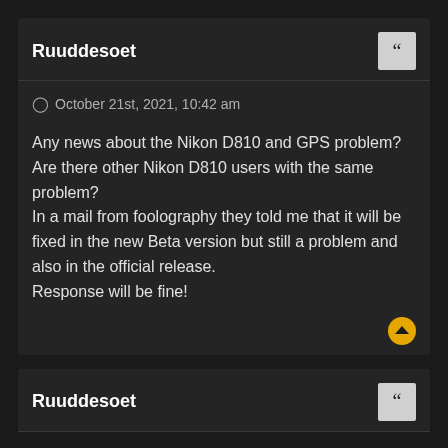Ruuddesoet
October 21st, 2021, 10:42 am
Any news about the Nikon D810 and GPS problem? Are there other Nikon D810 users with the same problem?
In a mail from foolography they told me that it will be fixed in the new Beta version but still a problem and also in the official release.
Response will be fine!
Ruuddesoet